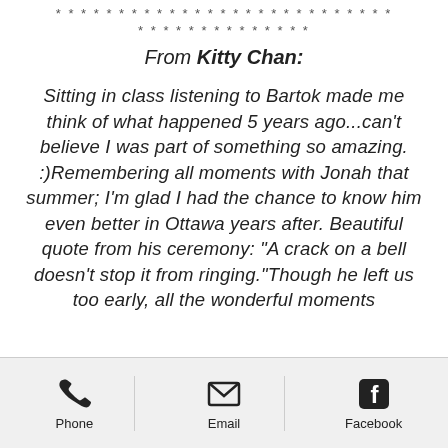* * * * * * * * * * * * * * * * * * * * * * * * * * *
* * * * * * * * * * * * * *
From Kitty Chan:
Sitting in class listening to Bartok made me think of what happened 5 years ago...can't believe I was part of something so amazing. :)Remembering all moments with Jonah that summer; I'm glad I had the chance to know him even better in Ottawa years after. Beautiful quote from his ceremony: "A crack on a bell doesn't stop it from ringing."Though he left us too early, all the wonderful moments
Phone   Email   Facebook